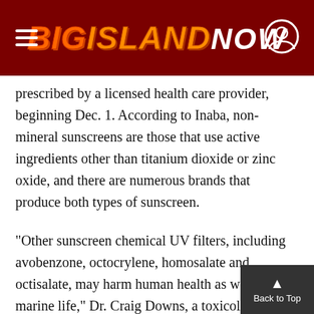Big Island Now
prescribed by a licensed health care provider, beginning Dec. 1. According to Inaba, non-mineral sunscreens are those that use active ingredients other than titanium dioxide or zinc oxide, and there are numerous brands that produce both types of sunscreen.
“Other sunscreen chemical UV filters, including avobenzone, octocrylene, homosalate and octisalate, may harm human health as well as marine life,” Dr. Craig Downs, a toxicologist with the Haereticus Environmental Laboratory, said in a press release from The Kohala Center in 2021. “These chemicals are absorbed quickly into the blood